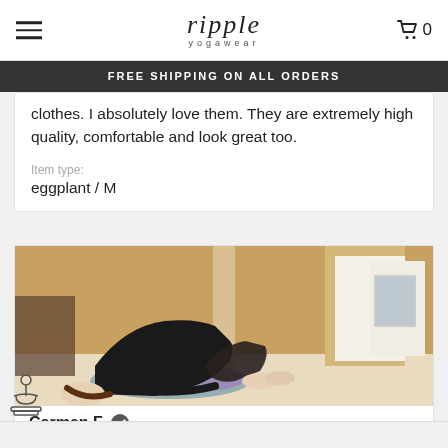ripple yogawear — FREE SHIPPING ON ALL ORDERS — Cart: 0
clothes. I absolutely love them. They are extremely high quality, comfortable and look great too.
Item type:
eggplant / M
[Figure (photo): Person performing a yoga bridge pose lying on the floor in a home setting, wearing dark yoga clothes]
Carmen F. ✔